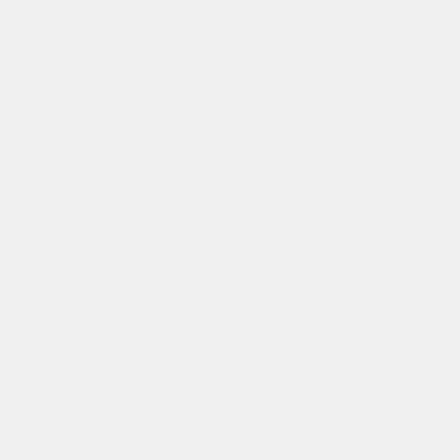biographical notices of such of the members as have illustrated their names, and adde
From the active and enterprising character of this committee, we promise to our readers a full history of the city of New York.
In relation to the address itself, it was evidently composed in haste, and is not free from in-diction. The president is entitled never failing devotion to the cau
SOME PASSAGES IN THE L
" Out, out, brief candle !
Life's but a walking shadow
It has long been a custom, and decease of an individual remarka
a
' ;   ;
a